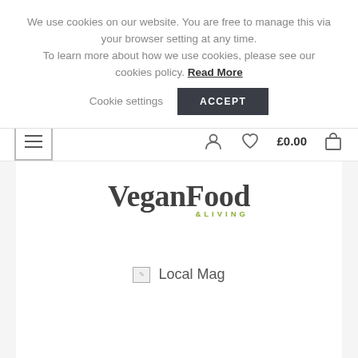We use cookies on our website. You are free to manage this via your browser setting at any time. To learn more about how we use cookies, please see our cookies policy. Read More
Cookie settings  ACCEPT
[Figure (screenshot): Navigation bar with hamburger menu icon, user icon, heart/wishlist icon, £0.00 price and shopping bag icon]
[Figure (logo): Vegan Food & Living logo in serif font with '&LIVING' in green small caps]
[Figure (other): Broken image placeholder labeled 'Local Mag']